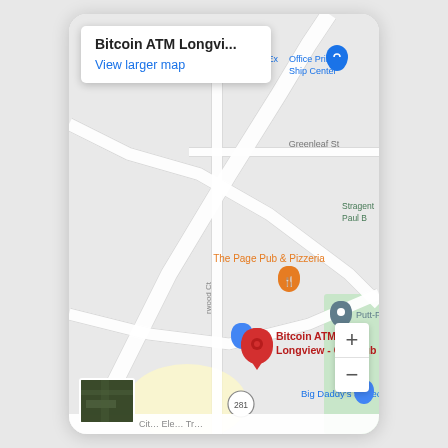[Figure (map): Google Maps screenshot showing location of Bitcoin ATM Longview - Coinhub. Map shows local area with labeled places including The Page Pub & Pizzeria, Big Daddy's Stereo, Ashley, Snackin' Wright, FedEx Office Print & Ship Center, Putt-Pu, Stragent Paul B, Greenleaf St, route 281, and a red pin marking Bitcoin ATM Longview - Coinhub. Info box at top left shows title 'Bitcoin ATM Longvi...' and 'View larger map' link. Zoom controls (+/-) in bottom right. Satellite thumbnail in bottom left.]